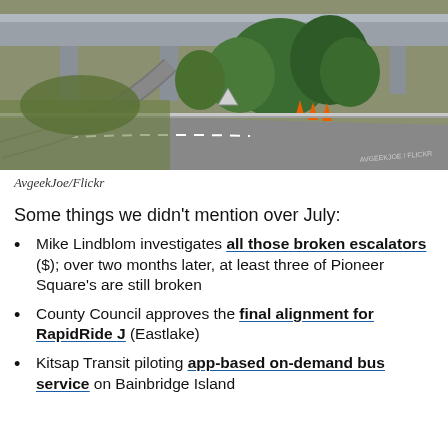[Figure (photo): Aerial/ground view of highway interchange with overpass bridge, trees, construction cones, and road infrastructure. Watermark text visible in lower right.]
AvgeekJoe/Flickr
Some things we didn't mention over July:
Mike Lindblom investigates all those broken escalators ($); over two months later, at least three of Pioneer Square's are still broken
County Council approves the final alignment for RapidRide J (Eastlake)
Kitsap Transit piloting app-based on-demand bus service on Bainbridge Island